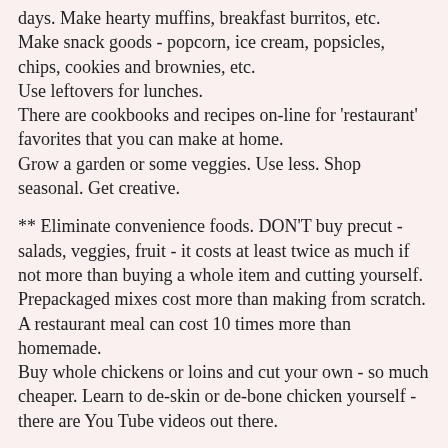days.  Make hearty muffins, breakfast burritos, etc.
Make snack goods - popcorn, ice cream, popsicles, chips, cookies and brownies, etc.
Use leftovers for lunches.
There are cookbooks and recipes on-line for 'restaurant' favorites that you can make at home.
Grow a garden or some veggies.  Use less.  Shop seasonal.  Get creative.
** Eliminate convenience foods.  DON'T buy precut  - salads, veggies, fruit - it costs at least twice as much if not more than buying a whole item and cutting yourself.    Prepackaged mixes cost more than making from scratch.  A restaurant meal can cost 10 times more than homemade.
Buy whole chickens or loins and cut your own - so much cheaper.  Learn to de-skin or de-bone chicken yourself - there are You Tube videos out there.
** LESS MEAT usage!!!!!  Now more than ever this can be critical.  We (for the most part) do NOT need meat to survive, at least not every day!!!!!  Make meatless nights at least a couple times a week.  Use smaller quantities - there is no need to eat a